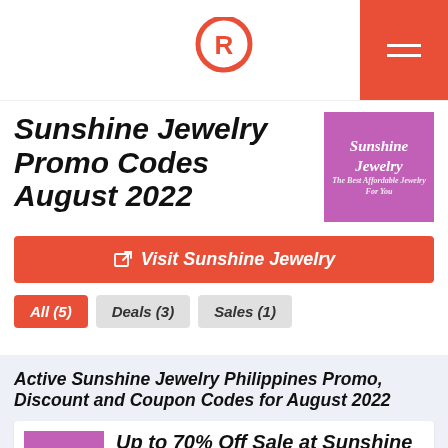Rappler logo header
Sunshine Jewelry Promo Codes August 2022
[Figure (logo): Sunshine Jewelry brand logo on pink/purple background]
Visit Sunshine Jewelry
All (5)   Deals (3)   Sales (1)
Active Sunshine Jewelry Philippines Promo, Discount and Coupon Codes for August 2022
[Figure (logo): Sunshine Jewelry brand logo on pink/purple background]
Up to 70% Off Sale at Sunshine Jewelry